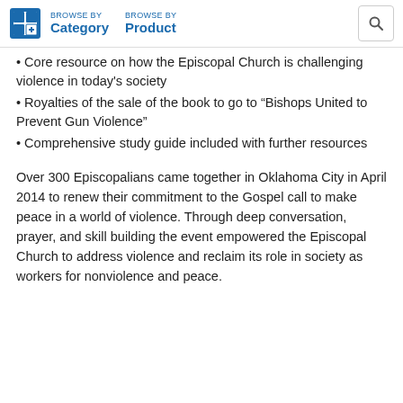BROWSE BY Category   BROWSE BY Product
Core resource on how the Episcopal Church is challenging violence in today's society
Royalties of the sale of the book to go to "Bishops United to Prevent Gun Violence"
Comprehensive study guide included with further resources
Over 300 Episcopalians came together in Oklahoma City in April 2014 to renew their commitment to the Gospel call to make peace in a world of violence. Through deep conversation, prayer, and skill building the event empowered the Episcopal Church to address violence and reclaim its role in society as workers for nonviolence and peace.